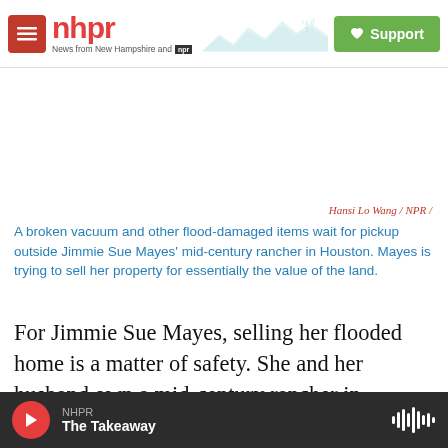nhpr — News from New Hampshire and NPR — Support
[Figure (screenshot): NHPR website header with logo, mountain silhouette illustration, and green Support button]
Hansi Lo Wang / NPR /
A broken vacuum and other flood-damaged items wait for pickup outside Jimmie Sue Mayes' mid-century rancher in Houston. Mayes is trying to sell her property for essentially the value of the land.
For Jimmie Sue Mayes, selling her flooded home is a matter of safety. She and her husband own a mid-century rancher in Houston's Meyerland neighborhood, parts of which have flooded three times in the past three years. As the water rose in
NHPR — The Takeaway